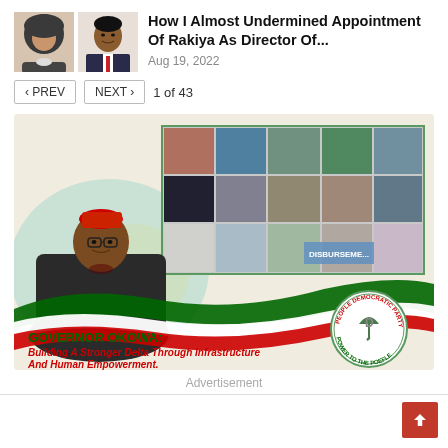[Figure (photo): Two thumbnail portrait photos side by side — a woman in hijab (left) and a man in suit (right)]
How I Almost Undermined Appointment Of Rakiya As Director Of...
Aug 19, 2022
‹ PREV   NEXT ›   1 of 43
[Figure (photo): Advertisement banner for Governor Okowa — People's Democratic Party. Shows the Governor in traditional red cap and dark agbada attire, a grid of infrastructure project photos, ribbon/wave in Nigerian flag colors (green-white-red), PDP logo circle, and text: GOVERNOR OKOWA: Building A Stronger Delta Through Infrastructure And Human Empowerment.]
Advertisement